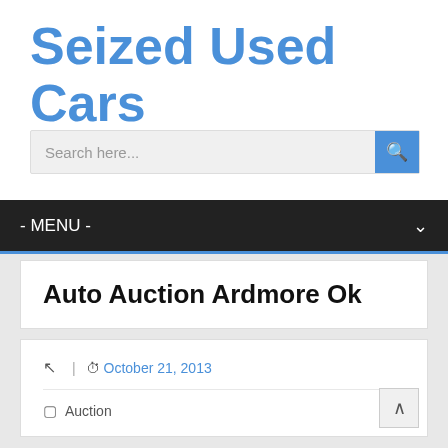Seized Used Cars
Search here...
- MENU -
Auto Auction Ardmore Ok
October 21, 2013
Auction